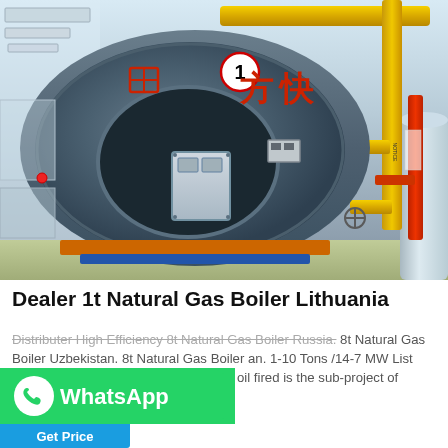[Figure (photo): Industrial natural gas boiler (Fangkuai brand, numbered 1) in a boiler room with yellow gas pipes, red pipe on the right, silver tank, and control box mounted on the front of the boiler. Chinese characters on boiler front reading 方快.]
Dealer 1t Natural Gas Boiler Lithuania
Distributer High Efficiency 8t Natural Gas Boiler Russia. 8t Natural Gas Boiler Uzbekistan. 8t Natural Gas Boiler an. 1-10 Tons /14-7 MW List WNS Oil & Fire Tube WNS series and oil fired is the sub-project of high...
[Figure (logo): WhatsApp button with green rounded background, WhatsApp phone icon, and WhatsApp label in white text]
Get Price